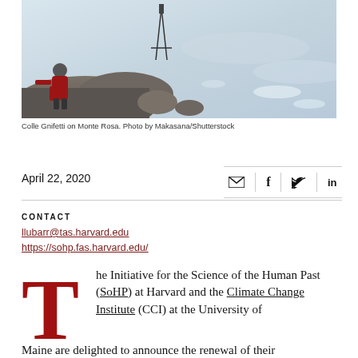[Figure (photo): Researcher in red jacket sitting on snowy alpine terrain at Colle Gnifetti on Monte Rosa, with a tripod/equipment visible against rocky outcrops and snow-covered landscape.]
Colle Gnifetti on Monte Rosa. Photo by Makasana/Shutterstock
April 22, 2020
CONTACT
llubarr@tas.harvard.edu
https://sohp.fas.harvard.edu/
he Initiative for the Science of the Human Past (SoHP) at Harvard and the Climate Change Institute (CCI) at the University of Maine are delighted to announce the renewal of their